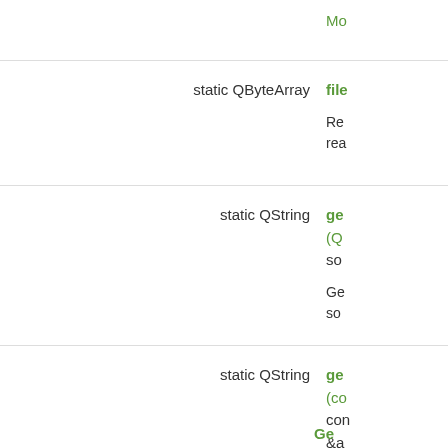Mo...
static QByteArray   file...
Re... rea...
static QString   ge... (Q... so...
Ge... so...
static QString   ge... (co... con... &a... iss...
Ge...